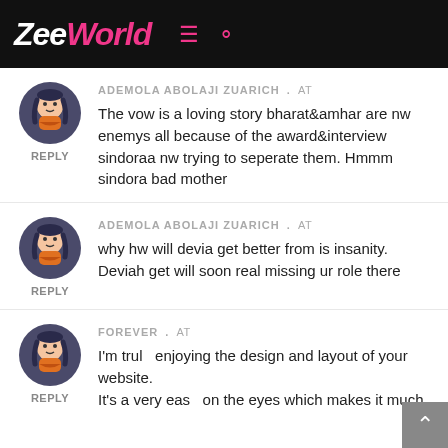ZeeWorld
ADEMOLA ABOLAJI ZUARICH . At
The vow is a loving story bharat&amhar are nw enemys all because of the award&interview sindoraa nw trying to seperate them. Hmmm sindora bad mother
ADEMOLA ABOLAJI ZUARICH . At
why hw will devia get better from is insanity. Deviah get will soon real missing ur role there
FOREVER . At
I'm trul   enjoying the design and layout of your website.
It's a very eas   on the eyes which makes it much